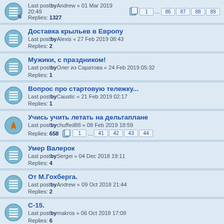Last postbyAndrew « 01 Mar 2019 20:49
Replies: 1327
Pages: 1 … 86 87 88 89
Доставка крыльев в Европу
Last postbyAlexis « 27 Feb 2019 08:43
Replies: 2
Мужики, с праздником!
Last postbyОлег из Саратова « 24 Feb 2019 05:32
Replies: 1
Вопрос про стартовую тележку...
Last postbyCaustic « 21 Feb 2019 02:17
Replies: 1
Учись учить летать на дельтаплане
Last postbychuffed88 « 08 Feb 2019 18:59
Replies: 658
Pages: 1 … 41 42 43 44
Умер Валерок
Last postbySergei « 04 Dec 2018 19:11
Replies: 4
От М.Гохберга.
Last postbyAndrew « 09 Oct 2018 21:44
Replies: 2
С-15.
Last postbymakros « 06 Oct 2018 17:08
Replies: 6
Умер Какурин
Last postbyvagabondo « 27 Sep 2018 22:15
Replies: 1
С праздником!